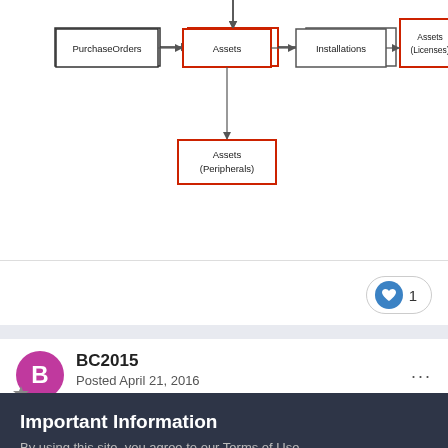[Figure (flowchart): Entity relationship/flowchart diagram showing boxes: PurchaseOrders → Assets (red border) → Installations → Assets (Licenses) (red border); Assets (red border) → Assets (Peripherals) (red border)]
1
BC2015
Posted April 21, 2016
Important Information
By using this site, you agree to our Terms of Use.
✓  I accept